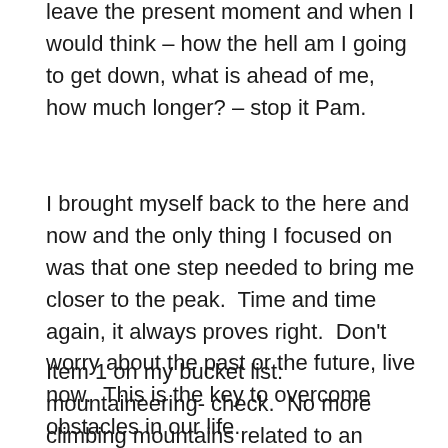leave the present moment and when I would think – how the hell am I going to get down, what is ahead of me, how much longer? – stop it Pam.
I brought myself back to the here and now and the only thing I focused on was that one step needed to bring me closer to the peak.  Time and time again, it always proves right.  Don't worry about the past or the future, live now.  This is the key to overcome obstacles in our life.
Item 1 on my bucket list: mountaineering- check.  No more climbing mountains related to an unfulfilling career or the need to achieve more in the work place.  The